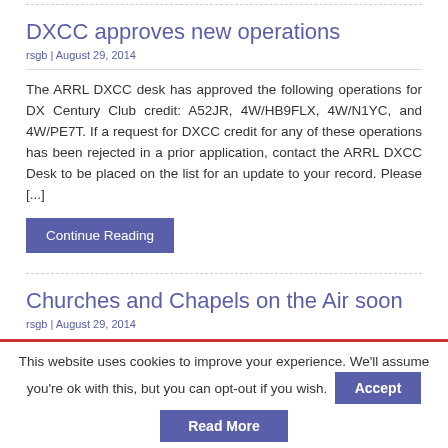DXCC approves new operations
rsgb | August 29, 2014
The ARRL DXCC desk has approved the following operations for DX Century Club credit: A52JR, 4W/HB9FLX, 4W/N1YC, and 4W/PE7T. If a request for DXCC credit for any of these operations has been rejected in a prior application, contact the ARRL DXCC Desk to be placed on the list for an update to your record. Please [...]
Continue Reading
Churches and Chapels on the Air soon
rsgb | August 29, 2014
This website uses cookies to improve your experience. We'll assume you're ok with this, but you can opt-out if you wish.
Accept
Read More